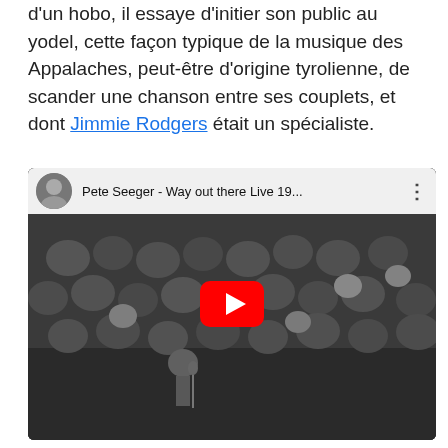d'un hobo, il essaye d'initier son public au yodel, cette façon typique de la musique des Appalaches, peut-être d'origine tyrolienne, de scander une chanson entre ses couplets, et dont Jimmie Rodgers était un spécialiste.
[Figure (screenshot): YouTube video thumbnail showing Pete Seeger performing on stage in black and white before a large audience. The video title reads 'Pete Seeger - Way out there Live 19...' with a channel icon and three-dot menu. A large red YouTube play button is overlaid in the center.]